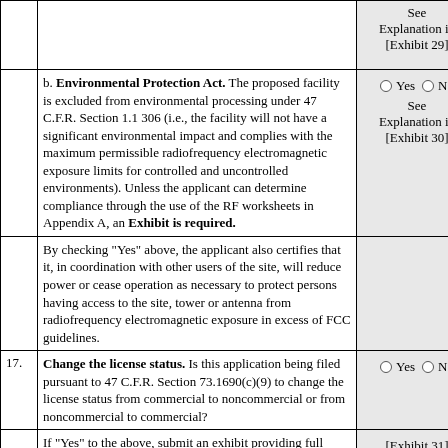|  | Content | Response |
| --- | --- | --- |
|  | See Explanation in [Exhibit 29] |  |
|  | b. Environmental Protection Act. The proposed facility is excluded from environmental processing under 47 C.F.R. Section 1.1 306 (i.e., the facility will not have a significant environmental impact and complies with the maximum permissible radiofrequency electromagnetic exposure limits for controlled and uncontrolled environments). Unless the applicant can determine compliance through the use of the RF worksheets in Appendix A, an Exhibit is required. | Yes / No
See Explanation in [Exhibit 30] |
|  | By checking "Yes" above, the applicant also certifies that it, in coordination with other users of the site, will reduce power or cease operation as necessary to protect persons having access to the site, tower or antenna from radiofrequency electromagnetic exposure in excess of FCC guidelines. |  |
| 17. | Change the license status. Is this application being filed pursuant to 47 C.F.R. Section 73.1690(c)(9) to change the license status from commercial to noncommercial or from noncommercial to commercial? | Yes / No |
|  | If "Yes" to the above, submit an exhibit providing full particulars. For applications changing license status from commercial to noncommercial, include Section II of FCC | [Exhibit 31] |